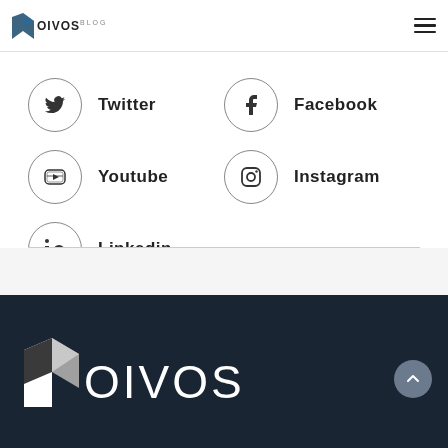OIVOS BLOG
Twitter
Facebook
Youtube
Instagram
Linkedin
[Figure (logo): OIVOS logo in white on dark navy footer background with geometric folded shape icon]
OIVOS